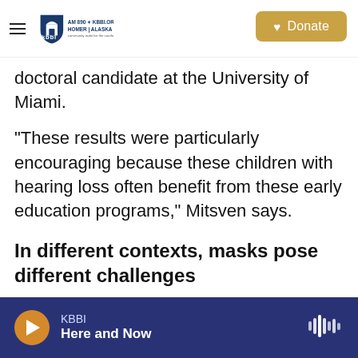KBBI AM 890 KBBI.ORG Homer Alaska | Donate
doctoral candidate at the University of Miami.
"These results were particularly encouraging because these children with hearing loss often benefit from these early education programs," Mitsven says.
In different contexts, masks pose different challenges
Masks do pose a challenge for deaf or hard-of-hearing students who aren't already fluent in American Sign Language or ASL, says Tyrone
KBBI | Here and Now